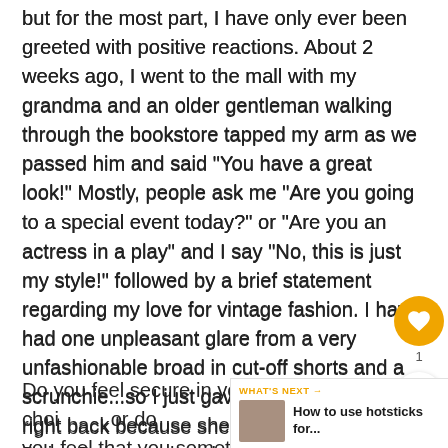but for the most part, I have only ever been greeted with positive reactions. About 2 weeks ago, I went to the mall with my grandma and an older gentleman walking through the bookstore tapped my arm as we passed him and said "You have a great look!" Mostly, people ask me "Are you going to a special event today?" or "Are you an actress in a play" and I say "No, this is just my style!" followed by a brief statement regarding my love for vintage fashion. I have had one unpleasant glare from a very unfashionable broad in cut-off shorts and a scrunchie...so I just gave her the stink eye right back because she looked a mess in her Daisy Dukes and yucky hair.

Do you feel secure in your wardrobe choices, or do you feel that you sometimes need guidance? At the beginning of my journey into vintage fashion, I felt